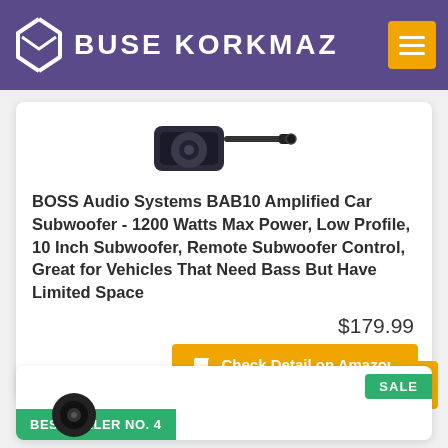BUSE KORKMAZ
[Figure (photo): Product image of BOSS Audio Systems BAB10 car subwoofer with cable]
BOSS Audio Systems BAB10 Amplified Car Subwoofer - 1200 Watts Max Power, Low Profile, 10 Inch Subwoofer, Remote Subwoofer Control, Great for Vehicles That Need Bass But Have Limited Space
$179.99
Check Detail on Amazon
BESTSELLER NO. 4
SALE